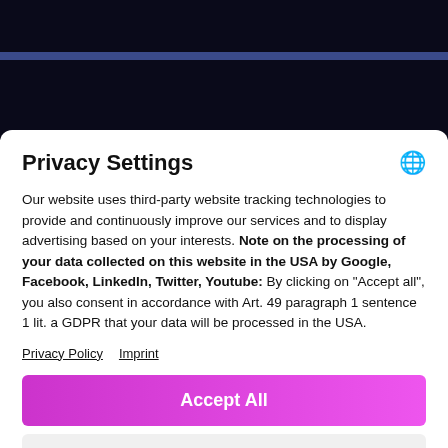Privacy Settings
Our website uses third-party website tracking technologies to provide and continuously improve our services and to display advertising based on your interests. Note on the processing of your data collected on this website in the USA by Google, Facebook, LinkedIn, Twitter, Youtube: By clicking on "Accept all", you also consent in accordance with Art. 49 paragraph 1 sentence 1 lit. a GDPR that your data will be processed in the USA.
Privacy Policy   Imprint
Accept All
More
Powered by Usercentrics Consent Management